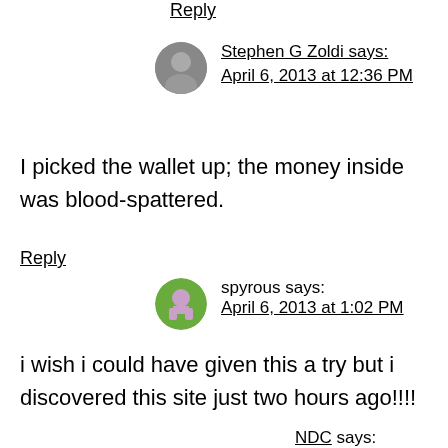Reply
Stephen G Zoldi says:
April 6, 2013 at 12:36 PM
I picked the wallet up; the money inside was blood-spattered.
Reply
spyrous says:
April 6, 2013 at 1:02 PM
i wish i could have given this a try but i discovered this site just two hours ago!!!!
Reply
NDC says: